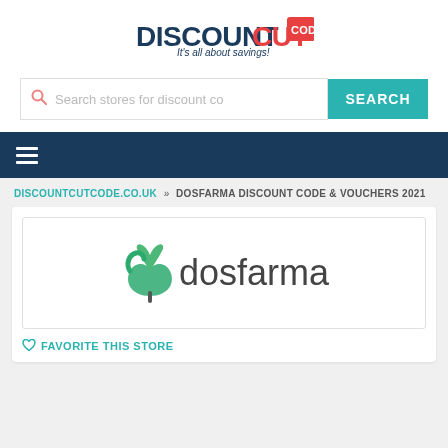[Figure (logo): DiscountCutCode logo with tagline 'It's all about savings!']
[Figure (screenshot): Search bar with placeholder 'Search stores for discount co' and teal SEARCH button]
[Figure (other): Dark navy navigation bar with hamburger menu icon]
DISCOUNTCUTCODE.CO.UK » DOSFARMA DISCOUNT CODE & VOUCHERS 2021
[Figure (logo): Dosfarma logo — green snake pharmacy symbol with 'dosfarma' text in dark gray]
♡ FAVORITE THIS STORE